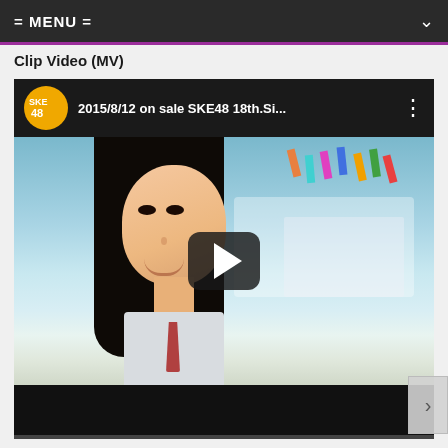= MENU =
Clip Video (MV)
[Figure (screenshot): Embedded YouTube video player showing SKE48 18th single music video. Video header shows SKE48 orange logo circle and title '2015/8/12 on sale SKE48 18th.Si...' with three-dot menu. Thumbnail shows a young Japanese woman in school uniform smiling, with a blue sky and colorful flags in background. Play button overlay in center. Video bottom bar is dark/black.]